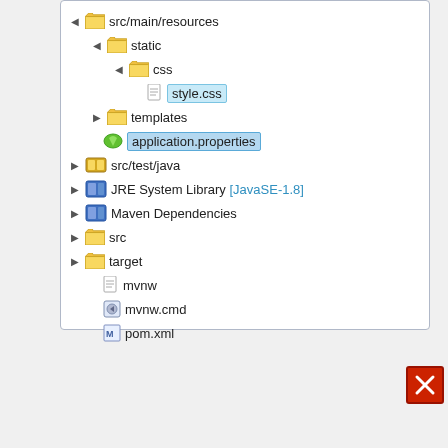[Figure (screenshot): IDE project file tree showing src/main/resources/static/css/style.css (highlighted in blue), templates folder, application.properties (highlighted in blue), src/test/java, JRE System Library [JavaSE-1.8], Maven Dependencies, src, target, mvnw, mvnw.cmd, pom.xml]
[Figure (screenshot): Code editor panel showing style.css file with h1 { color:#0000FF; } and h2 { color:#FF0000; } CSS rules. Has a red X close button in upper right.]